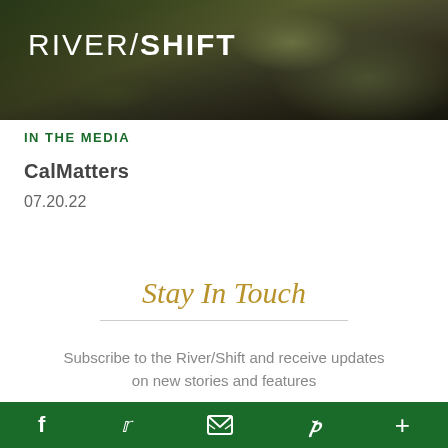[Figure (photo): Dark aerial/landscape photograph used as header background image with muted green and brown tones]
RIVER/SHIFT
IN THE MEDIA
CalMatters
07.20.22
Stay In Touch
Subscribe to the River/Shift and receive updates on new stories and features
f  twitter  email  p  +